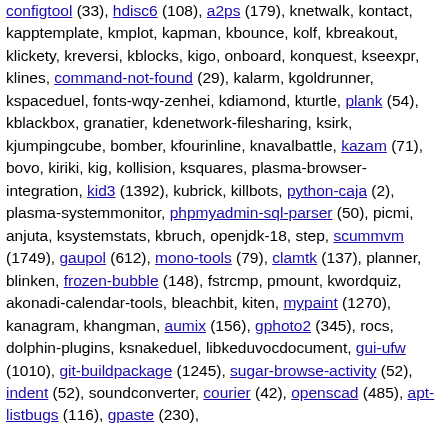configtool (33), hdisc6 (108), a2ps (179), knetwalk, kontact, kapptemplate, kmplot, kapman, kbounce, kolf, kbreakout, klickety, kreversi, kblocks, kigo, onboard, konquest, kseexpr, klines, command-not-found (29), kalarm, kgoldrunner, kspaceduel, fonts-wqy-zenhei, kdiamond, kturtle, plank (54), kblackbox, granatier, kdenetwork-filesharing, ksirk, kjumpingcube, bomber, kfourinline, knavalbattle, kazam (71), bovo, kiriki, kig, kollision, ksquares, plasma-browser-integration, kid3 (1392), kubrick, killbots, python-caja (2), plasma-systemmonitor, phpmyadmin-sql-parser (50), picmi, anjuta, ksystemstats, kbruch, openjdk-18, step, scummvm (1749), gaupol (612), mono-tools (79), clamtk (137), planner, blinken, frozen-bubble (148), fstrcmp, pmount, kwordquiz, akonadi-calendar-tools, bleachbit, kiten, mypaint (1270), kanagram, khangman, aumix (156), gphoto2 (345), rocs, dolphin-plugins, ksnakeduel, libkeduvocdocument, gui-ufw (1010), git-buildpackage (1245), sugar-browse-activity (52), indent (52), soundconverter, courier (42), openscad (485), apt-listbugs (116), gpaste (230),